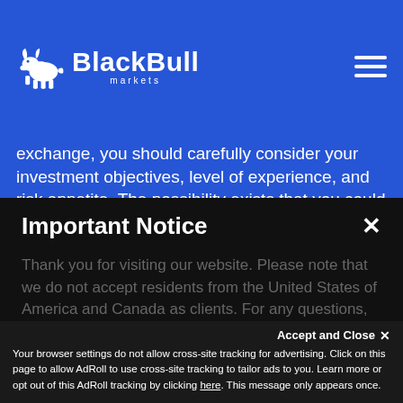[Figure (logo): BlackBull Markets logo: white bull icon on left, bold white text 'BlackBull' with smaller 'markets' below, all on blue background]
exchange, you should carefully consider your investment objectives, level of experience, and risk appetite. The possibility exists that you could sustain a loss of some or all of your initial investment and, therefore, you should not invest money you cannot afford to lose should also
Important Notice
Thank you for visiting our website. Please note that we do not accept residents from the United States of America and Canada as clients. For any questions, please feel free to email us at
Accept and Close ✕
Your browser settings do not allow cross-site tracking for advertising. Click on this page to allow AdRoll to use cross-site tracking to tailor ads to you. Learn more or opt out of this AdRoll tracking by clicking here. This message only appears once.